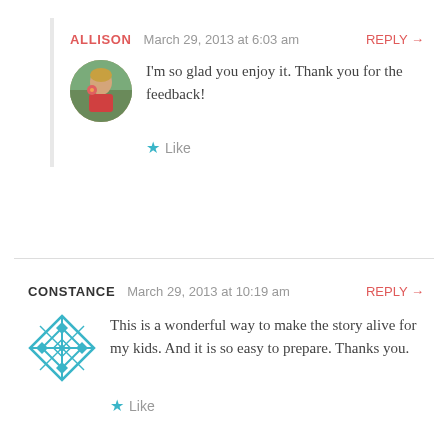ALLISON   March 29, 2013 at 6:03 am   REPLY →
[Figure (photo): Circular avatar photo of Allison, a woman with blonde hair holding a flower outdoors]
I'm so glad you enjoy it. Thank you for the feedback!
★ Like
CONSTANCE   March 29, 2013 at 10:19 am   REPLY →
[Figure (logo): Teal/blue diamond-shaped geometric pattern avatar for Constance]
This is a wonderful way to make the story alive for my kids. And it is so easy to prepare. Thanks you.
★ Like